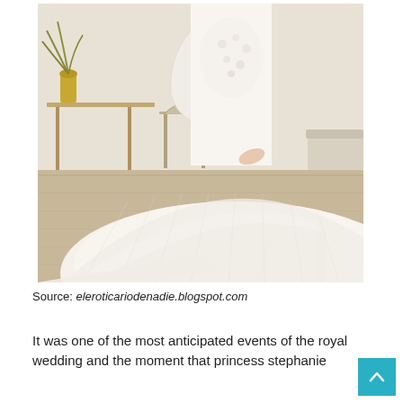[Figure (photo): A woman wearing a large, full-skirted white wedding ball gown with lace bodice and long sheer sleeves, photographed in an elegant cream-colored interior room with French-style furniture including a chair and table with flowers.]
Source: eleroticariodenadie.blogspot.com
It was one of the most anticipated events of the royal wedding and the moment that princess stephanie